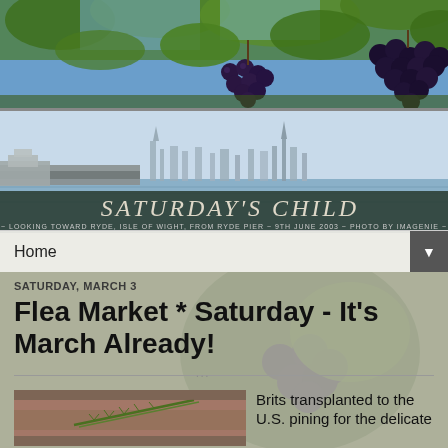[Figure (photo): Grapevines with clusters of dark purple grapes hanging from green vines against a blue sky background — top banner image]
[Figure (photo): Panoramic view of Ryde, Isle of Wight, taken from Ryde Pier showing waterfront buildings and a pier structure. Overlaid with 'Saturday's Child' blog title text and caption: '~ Looking toward Ryde, Isle of Wight, from Ryde Pier ~ 9th June 2003 ~ Photo by ImaGenie ~']
Home ▼
SATURDAY, MARCH 3
Flea Market * Saturday - It's March Already!
[Figure (photo): Food photo showing what appears to be meat with rosemary herb sprigs]
Brits transplanted to the U.S. pining for the delicate